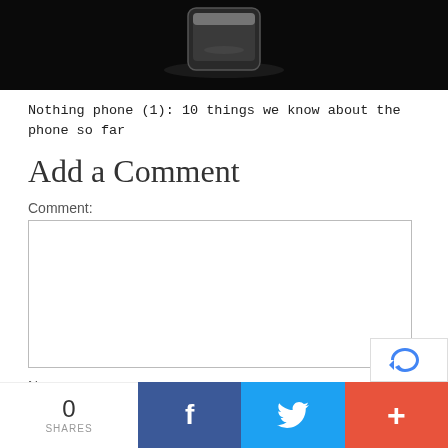[Figure (photo): Dark hero image showing a smartphone (Nothing Phone 1) against a black background, partially visible at the top of the page]
Nothing phone (1): 10 things we know about the phone so far
Add a Comment
Comment:
[Figure (screenshot): Empty comment textarea input field with resize handle]
Name:
[Figure (other): reCAPTCHA badge in bottom right corner]
0 SHARES | Facebook share button | Twitter share button | Plus/more share button